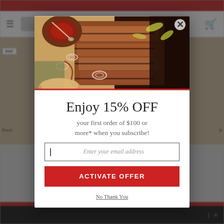[Figure (screenshot): Background website page showing a BBQ/grilling retail website with red header bar, navigation bar with hamburger menu and cart icon, product grid with BBQ products, and a dark bottom bar.]
[Figure (photo): Photo of sliced BBQ brisket on a cutting board with BBQ sauce, onion rings, and pickled peppers, displayed at the top of a modal popup.]
Enjoy 15% OFF
your first order of $100 or more* when you subscribe!
Enter your email address
ACTIVATE OFFER
No Thank You